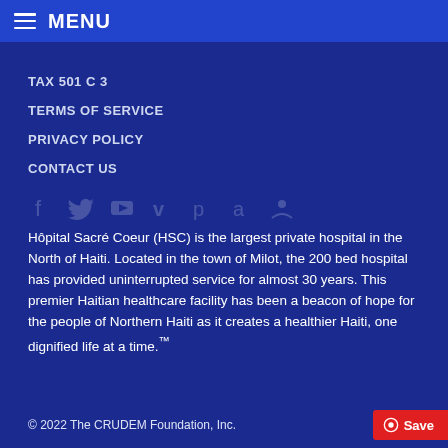MENU
TAX 501 C 3
TERMS OF SERVICE
PRIVACY POLICY
CONTACT US
[Figure (illustration): Social media icons: Facebook, Twitter, YouTube, Vimeo, Pinterest, Amazon, and another icon]
Hôpital Sacré Coeur (HSC) is the largest private hospital in the North of Haiti. Located in the town of Milot, the 200 bed hospital has provided uninterrupted service for almost 30 years. This premier Haitian healthcare facility has been a beacon of hope for the people of Northern Haiti as it creates a healthier Haiti, one dignified life at a time.™
© 2022 The CRUDEM Foundation, Inc.